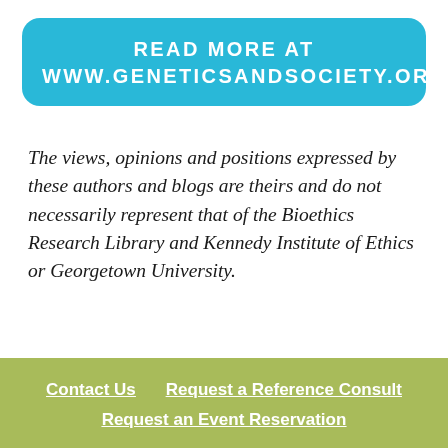[Figure (other): Cyan rounded rectangle banner with text: READ MORE AT WWW.GENETICSANDSOCIETY.ORG]
The views, opinions and positions expressed by these authors and blogs are theirs and do not necessarily represent that of the Bioethics Research Library and Kennedy Institute of Ethics or Georgetown University.
Contact Us   Request a Reference Consult   Request an Event Reservation